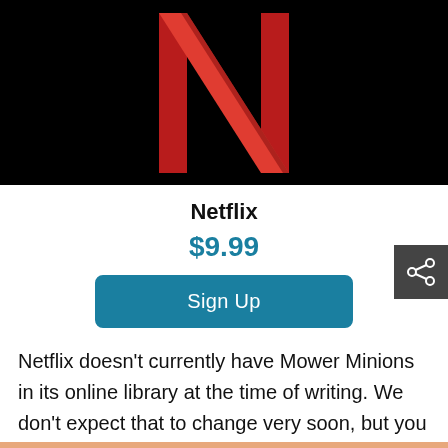[Figure (logo): Netflix logo — red N on black background]
Netflix
$9.99
Sign Up
Netflix doesn't currently have Mower Minions in its online library at the time of writing. We don't expect that to change very soon, but you never know!